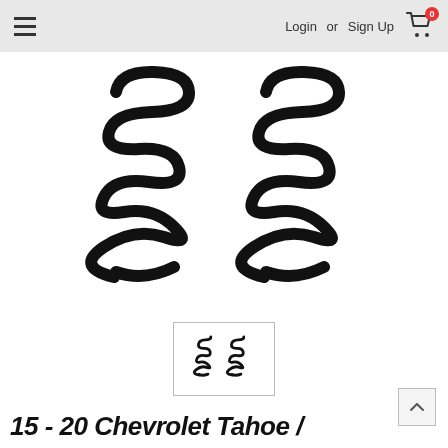Login or Sign Up
[Figure (photo): Two black coil springs (automotive suspension springs) on a white background]
[Figure (photo): Thumbnail image of two small black coil springs]
15 - 20 Chevrolet Tahoe /